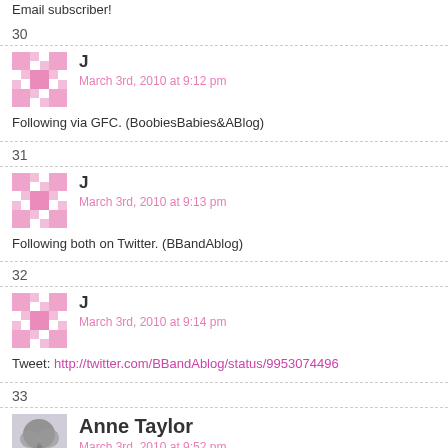Email subscriber!
30
J
March 3rd, 2010 at 9:12 pm
Following via GFC. (BoobiesBabies&ABlog)
31
J
March 3rd, 2010 at 9:13 pm
Following both on Twitter. (BBandAblog)
32
J
March 3rd, 2010 at 9:14 pm
Tweet: http://twitter.com/BBandAblog/status/9953074496
33
Anne Taylor
March 3rd, 2010 at 9:52 pm
I like the “It Feels Good To Be A Gangsta” one the best with the “Imposter